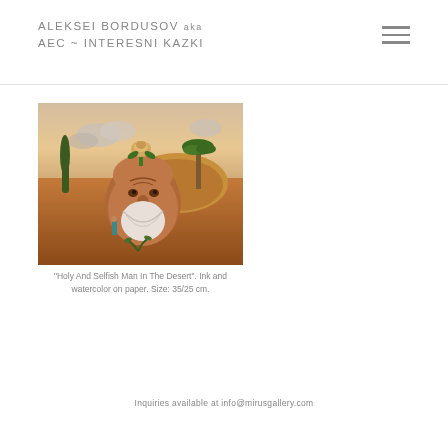ALEKSEI BORDUSOV aka AEC ~ INTERESNI KAZKI
[Figure (photo): Surrealist painting showing a large severed head of a bearded man in a desert landscape, with a rose growing from the top of the head, a small person standing in front of it, a palm tree, a cypress tree, and sandy hills under a cloudy sky.]
“Holy And Selfish Man In The Desert”. Ink and watercolor on paper. Size: 35/25 cm.
Inquiries available at info@mirusgallery.com